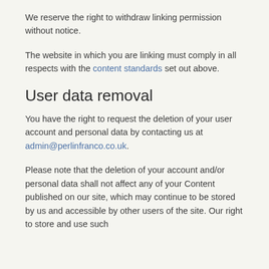We reserve the right to withdraw linking permission without notice.
The website in which you are linking must comply in all respects with the content standards set out above.
User data removal
You have the right to request the deletion of your user account and personal data by contacting us at admin@perlinfranco.co.uk.
Please note that the deletion of your account and/or personal data shall not affect any of your Content published on our site, which may continue to be stored by us and accessible by other users of the site. Our right to store and use such